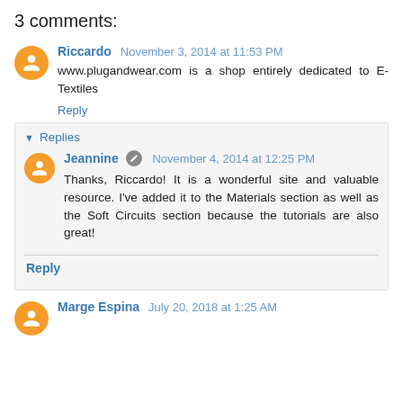3 comments:
Riccardo November 3, 2014 at 11:53 PM
www.plugandwear.com is a shop entirely dedicated to E-Textiles
Reply
Replies
Jeannine November 4, 2014 at 12:25 PM
Thanks, Riccardo! It is a wonderful site and valuable resource. I've added it to the Materials section as well as the Soft Circuits section because the tutorials are also great!
Reply
Marge Espina July 20, 2018 at 1:25 AM